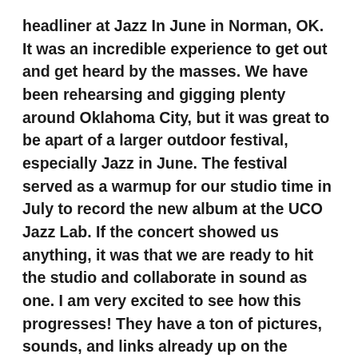headliner at Jazz In June in Norman, OK. It was an incredible experience to get out and get heard by the masses. We have been rehearsing and gigging plenty around Oklahoma City, but it was great to be apart of a larger outdoor festival, especially Jazz in June. The festival served as a warmup for our studio time in July to record the new album at the UCO Jazz Lab. If the concert showed us anything, it was that we are ready to hit the studio and collaborate in sound as one. I am very excited to see how this progresses! They have a ton of pictures, sounds, and links already up on the Culture Cinematic Facebook page in the link above. Please check us out and give a listen! Our next performance is July 17th at Belle Isle Brewery.
I am now teaching guitar lessons in Norman, OK on Thursdays at Suite Music International. This is a great